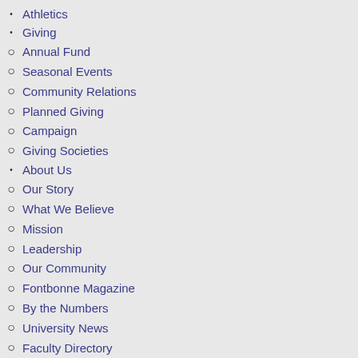Athletics
Giving
Annual Fund
Seasonal Events
Community Relations
Planned Giving
Campaign
Giving Societies
About Us
Our Story
What We Believe
Mission
Leadership
Our Community
Fontbonne Magazine
By the Numbers
University News
Faculty Directory
Employment